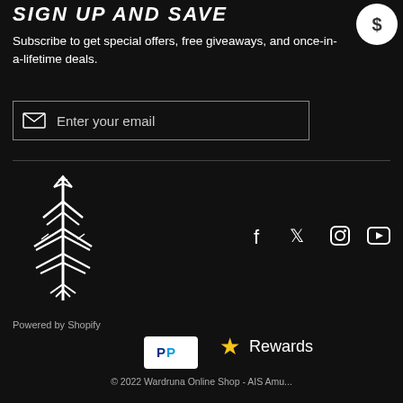SIGN UP AND SAVE
Subscribe to get special offers, free giveaways, and once-in-a-lifetime deals.
[Figure (other): Email input field with envelope icon and placeholder text 'Enter your email']
[Figure (logo): Wardruna runic/tree logo in white on black background]
[Figure (other): Social media icons: Facebook, Twitter, Instagram, YouTube]
Powered by Shopify
[Figure (other): PayPal payment button]
Rewards
© 2022 Wardruna Online Shop - AIS Amu...